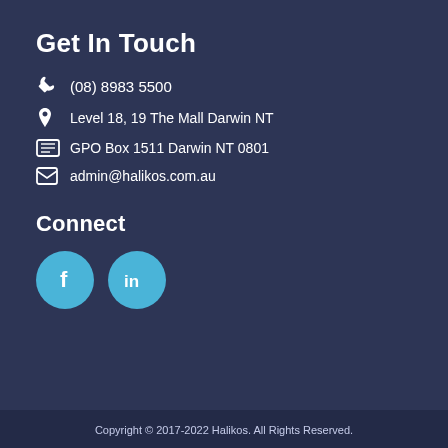Get In Touch
(08) 8983 5500
Level 18, 19 The Mall Darwin NT
GPO Box 1511 Darwin NT 0801
admin@halikos.com.au
Connect
[Figure (logo): Facebook and LinkedIn social media icon circles in light blue]
Copyright © 2017-2022 Halikos. All Rights Reserved.